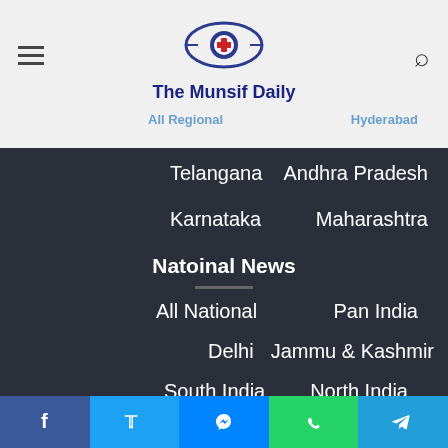[Figure (logo): The Munsif Daily newspaper logo with circular eye emblem]
The Munsif Daily
Regional News (partial) - All Regional, Hyderabad
Telangana
Andhra Pradesh
Karnataka
Maharashtra
Natoinal News
All National
Pan India
Delhi
Jammu & Kashmir
South India
North India
International News